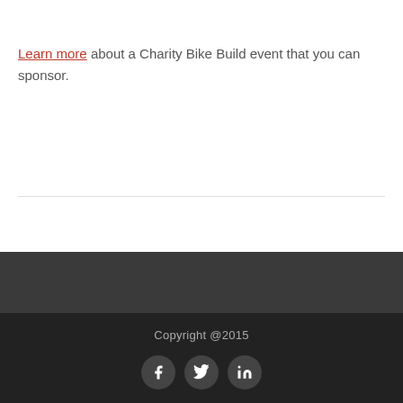Learn more about a Charity Bike Build event that you can sponsor.
Copyright @2015